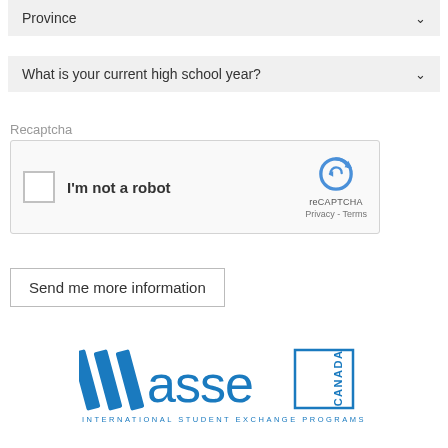[Figure (screenshot): Province dropdown field with chevron arrow]
[Figure (screenshot): What is your current high school year? dropdown field with chevron arrow]
Recaptcha
[Figure (other): reCAPTCHA widget: checkbox labeled I'm not a robot with reCAPTCHA logo, Privacy and Terms links]
[Figure (other): Send me more information button]
[Figure (logo): ASSE Canada International Student Exchange Programs logo]